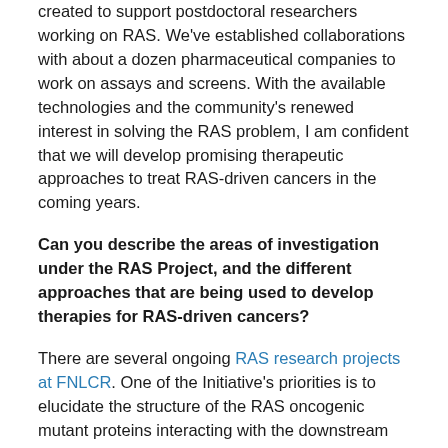created to support postdoctoral researchers working on RAS. We've established collaborations with about a dozen pharmaceutical companies to work on assays and screens. With the available technologies and the community's renewed interest in solving the RAS problem, I am confident that we will develop promising therapeutic approaches to treat RAS-driven cancers in the coming years.
Can you describe the areas of investigation under the RAS Project, and the different approaches that are being used to develop therapies for RAS-driven cancers?
There are several ongoing RAS research projects at FNLCR. One of the Initiative's priorities is to elucidate the structure of the RAS oncogenic mutant proteins interacting with the downstream signaling protein, RAF. Understanding this structure is the foundation for developing drugs that can disrupt this interaction